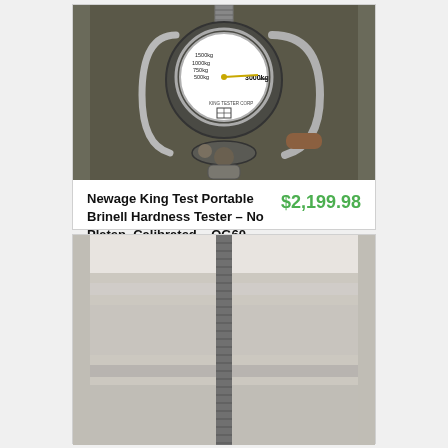[Figure (photo): Newage King Test Portable Brinell Hardness Tester showing a circular gauge with measurement markings (500kg, 750kg, 1000kg, 1500kg, 3000kg) and mechanical components including a threaded rod, clamp, and handle.]
Newage King Test Portable Brinell Hardness Tester – No Platen, Calibrated – OG60
$2,199.98
[Figure (photo): Partial view of a Brinell hardness tester showing a threaded rod/screw mechanism against a light background.]